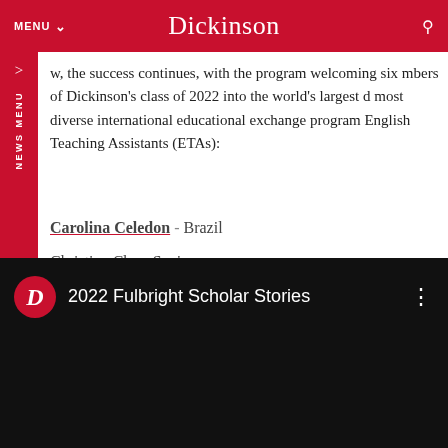MENU  Dickinson
w, the success continues, with the program welcoming six mbers of Dickinson's class of 2022 into the world's largest d most diverse international educational exchange program English Teaching Assistants (ETAs):
Carolina Celedon - Brazil
Christina Chu - Spain
Jake DeCarli - Italy
Sadie Fowler - Italy
Anna Harvey - Moldova
Caitlin Lauritzen - Germany
[Figure (screenshot): YouTube video embed showing '2022 Fulbright Scholar Stories' with Dickinson D logo on black background]